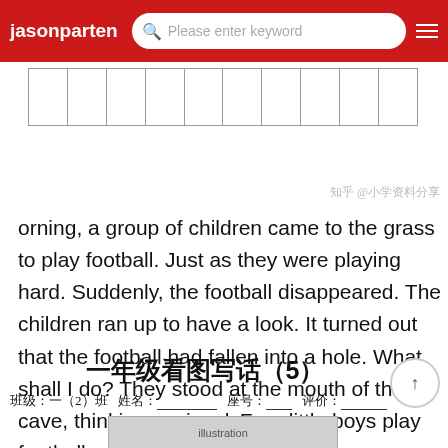jasonparten | Please enter keyword
|  |  |  |  |  |  |  |  |  |  |
知乎 @小学资料分享
orning, a group of children came to the grass to play football. Just as they were playing hard. Suddenly, the football disappeared. The children ran up to have a look. It turned out that the football had fallen into a hole. What shall I do? They stood at the mouth of the cave, thinking anxiouslyFour little boys play football
"Jingling bell", as soon as
一年级看图写话（5）
班级：一（2）班  姓名：_________  座号：____  评价：______
[Figure (illustration): Black and white illustration of children playing football]